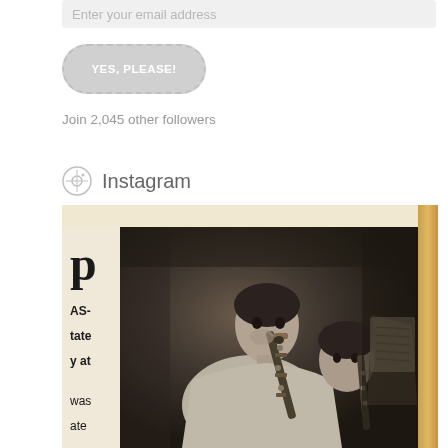Enter your email address
YES, PLEASE!
Join 2,045 other followers
Instagram
[Figure (photo): Vintage black and white newspaper photograph showing two people playing clarinets, with partial text visible on the left side reading 'AS-', 'tate', 'y at', 'was', 'ate'. The photo has a cream border at top and a yellowed tape/edge on the right.]